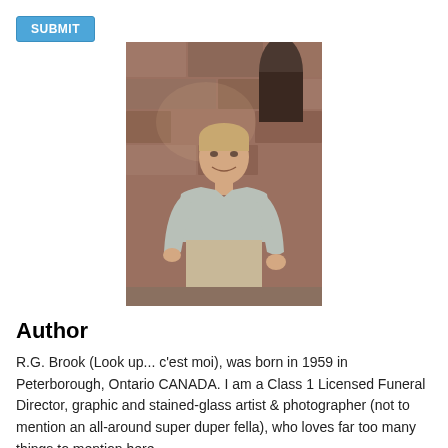SUBMIT
[Figure (photo): A man sitting against a stone wall background, wearing a light grey t-shirt, smiling at the camera. He appears to be in his 40s-50s with short light brown hair.]
Author
R.G. Brook (Look up... c'est moi), was born in 1959 in Peterborough, Ontario CANADA. I am a Class 1 Licensed Funeral Director, graphic and stained-glass artist & photographer (not to mention an all-around super duper fella), who loves far too many things to mention here.